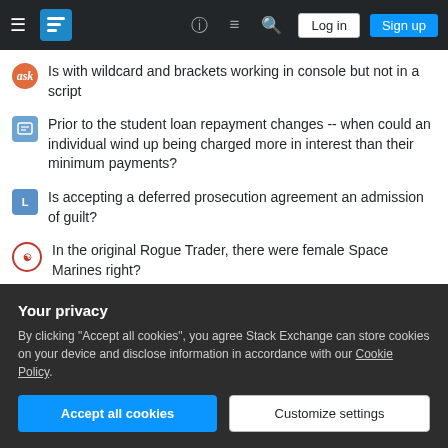Stack Exchange navigation bar with Log in and Sign up buttons
Is with wildcard and brackets working in console but not in a script
Prior to the student loan repayment changes -- when could an individual wind up being charged more in interest than their minimum payments?
Is accepting a deferred prosecution agreement an admission of guilt?
In the original Rogue Trader, there were female Space Marines right?
Relative valuative criteria of properness for flat morphisms
Start 100 process at a time in bash script
What is the meaning of □ in □□□□□□□□□□□□□□?
Is constant-time compare really required for AEAD ciphers?
Your privacy
By clicking "Accept all cookies", you agree Stack Exchange can store cookies on your device and disclose information in accordance with our Cookie Policy.
[Accept all cookies] [Customize settings]